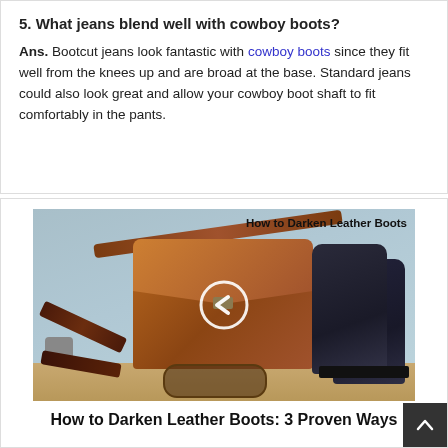5. What jeans blend well with cowboy boots?
Ans. Bootcut jeans look fantastic with cowboy boots since they fit well from the knees up and are broad at the base. Standard jeans could also look great and allow your cowboy boot shaft to fit comfortably in the pants.
[Figure (photo): Video thumbnail showing leather goods (brown messenger bag, dark lace-up boots, belt, sunglasses) on a wooden surface with text overlay 'How to Darken Leather Boots' and a play button chevron icon]
How to Darken Leather Boots: 3 Proven Ways